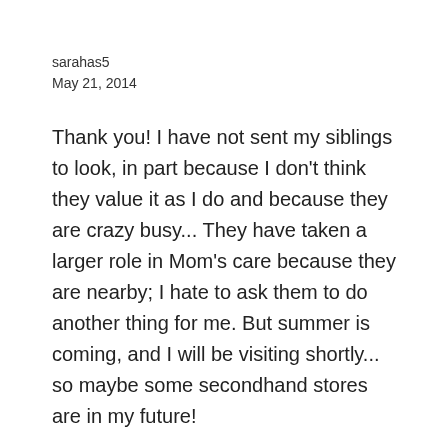sarahas5
May 21, 2014
Thank you! I have not sent my siblings to look, in part because I don't think they value it as I do and because they are crazy busy... They have taken a larger role in Mom's care because they are nearby; I hate to ask them to do another thing for me. But summer is coming, and I will be visiting shortly... so maybe some secondhand stores are in my future!
I am thankful for my Mom and will do my best to be there — at least by phone — as